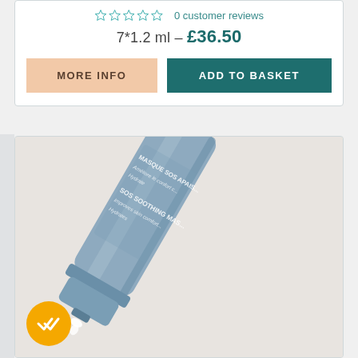0 customer reviews
7*1.2 ml - £36.50
MORE INFO
ADD TO BASKET
[Figure (photo): Close-up photo of a light blue tube of 'SOS Soothing Mask' (MASQUE SOS APAISANT) product dispensing cream, with a yellow circular checkmark badge in the bottom left corner.]